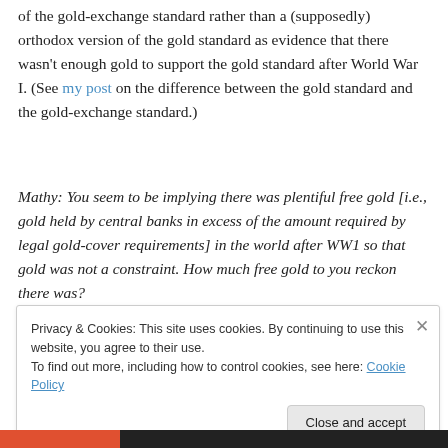of the gold-exchange standard rather than a (supposedly) orthodox version of the gold standard as evidence that there wasn't enough gold to support the gold standard after World War I. (See my post on the difference between the gold standard and the gold-exchange standard.)
Mathy: You seem to be implying there was plentiful free gold [i.e., gold held by central banks in excess of the amount required by legal gold-cover requirements] in the world after WW1 so that gold was not a constraint. How much free gold to you reckon there was?
Privacy & Cookies: This site uses cookies. By continuing to use this website, you agree to their use.
To find out more, including how to control cookies, see here: Cookie Policy